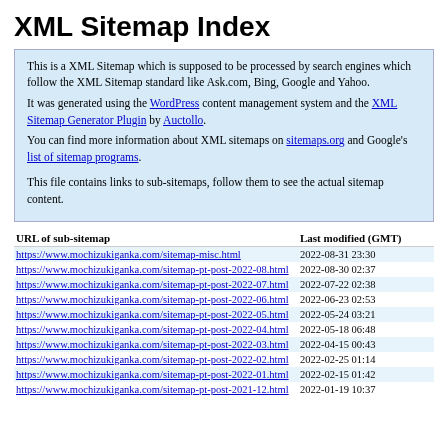XML Sitemap Index
This is a XML Sitemap which is supposed to be processed by search engines which follow the XML Sitemap standard like Ask.com, Bing, Google and Yahoo.
It was generated using the WordPress content management system and the XML Sitemap Generator Plugin by Auctollo.
You can find more information about XML sitemaps on sitemaps.org and Google's list of sitemap programs.

This file contains links to sub-sitemaps, follow them to see the actual sitemap content.
| URL of sub-sitemap | Last modified (GMT) |
| --- | --- |
| https://www.mochizukiganka.com/sitemap-misc.html | 2022-08-31 23:30 |
| https://www.mochizukiganka.com/sitemap-pt-post-2022-08.html | 2022-08-30 02:37 |
| https://www.mochizukiganka.com/sitemap-pt-post-2022-07.html | 2022-07-22 02:38 |
| https://www.mochizukiganka.com/sitemap-pt-post-2022-06.html | 2022-06-23 02:53 |
| https://www.mochizukiganka.com/sitemap-pt-post-2022-05.html | 2022-05-24 03:21 |
| https://www.mochizukiganka.com/sitemap-pt-post-2022-04.html | 2022-05-18 06:48 |
| https://www.mochizukiganka.com/sitemap-pt-post-2022-03.html | 2022-04-15 00:43 |
| https://www.mochizukiganka.com/sitemap-pt-post-2022-02.html | 2022-02-25 01:14 |
| https://www.mochizukiganka.com/sitemap-pt-post-2022-01.html | 2022-02-15 01:42 |
| https://www.mochizukiganka.com/sitemap-pt-post-2021-12.html | 2022-01-19 10:37 |